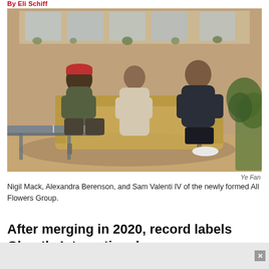By Eli Schiff
[Figure (photo): Three people — Nigil Mack, Alexandra Berenson, and Sam Valenti IV — seated on a tan leather couch in a brick-walled loft space with plants and a ping-pong table in the foreground.]
Ye Fan
Nigil Mack, Alexandra Berenson, and Sam Valenti IV of the newly formed All Flowers Group.
After merging in 2020, record labels Ghostly International